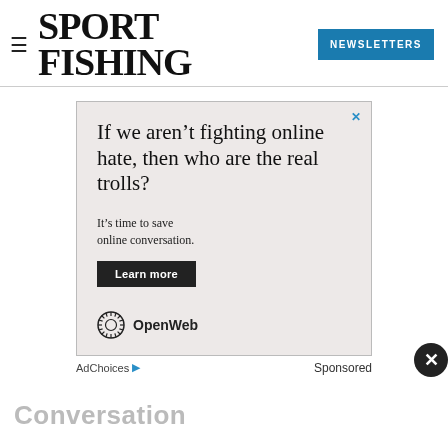SPORT FISHING | NEWSLETTERS
[Figure (infographic): Advertisement box with light beige background. Headline: 'If we aren't fighting online hate, then who are the real trolls?' Subtext: 'It's time to save online conversation.' Button: 'Learn more'. OpenWeb logo at bottom. Close X button top right.]
AdChoices   Sponsored
Conversation